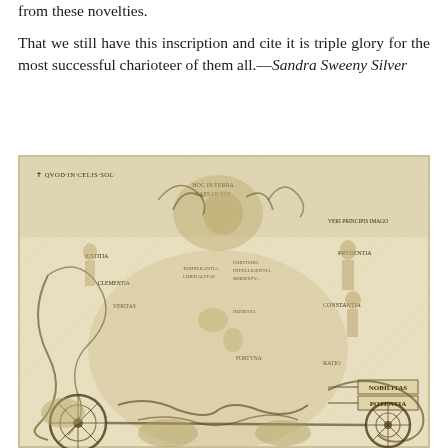from these novelties.
That we still have this inscription and cite it is triple glory for the most successful charioteer of them all.—Sandra Sweeny Silver
[Figure (illustration): A detailed historical engraving depicting an elaborate allegorical scene with a chariot, classical figures, scrollwork, and Latin inscriptions including QVOD IN CELIS SOL, HOC IN TERRA CAESAR EST, VERI PRINCIPIS IMAGO, PRVDENTIA, CONSTANTIA, RATIO, NOBILITAS, POTENTIA, and other labeled virtues and figures arranged in a decorative baroque composition.]